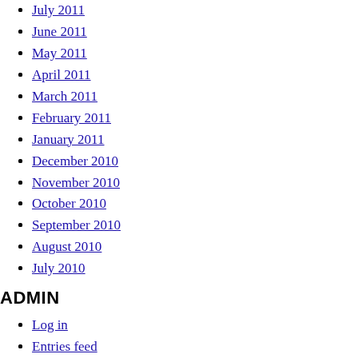July 2011
June 2011
May 2011
April 2011
March 2011
February 2011
January 2011
December 2010
November 2010
October 2010
September 2010
August 2010
July 2010
ADMIN
Log in
Entries feed
Comments feed
WordPress.org
© 2022 William Chua Photography|ProPhoto WordPress Blog
Menu